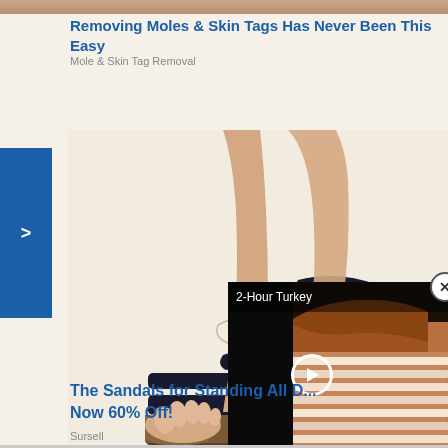[Figure (photo): Thin strip of a photo at the very top of the page, showing a partial brown/tan background]
Removing Moles & Skin Tags Has Never Been This Easy
Mole & Skin Tag Removal
[Figure (photo): Woman's feet wearing black wedge sandals with ankle bracelet on cream/beige background. A blue sidebar with '>' arrow is on the left.]
[Figure (screenshot): Video overlay showing sliced turkey meat with text '2-Hour Turkey' at the top and a play button circle in the center. An X close button is in the top right corner.]
The Sandals for Standing All D... Now 60% Off!
Sursell